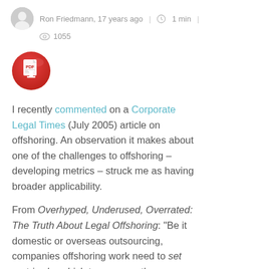Ron Friedmann, 17 years ago | 1 min | 1055
[Figure (illustration): Red circular PDF download icon with a document and downward arrow]
I recently commented on a Corporate Legal Times (July 2005) article on offshoring. An observation it makes about one of the challenges to offshoring – developing metrics – struck me as having broader applicability.
From Overhyped, Underused, Overrated: The Truth About Legal Offshoring: "Be it domestic or overseas outsourcing, companies offshoring work need to set metrics by which to measure the